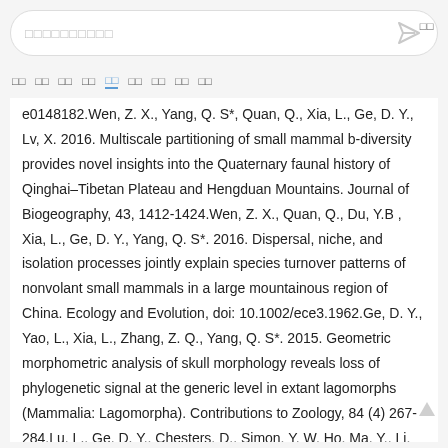搜索框占位符文字
首页 推荐 发现 热门 关注 视频 图片 问答 更多
e0148182.Wen, Z. X., Yang, Q. S*, Quan, Q., Xia, L., Ge, D. Y., Lv, X. 2016. Multiscale partitioning of small mammal b-diversity provides novel insights into the Quaternary faunal history of Qinghai–Tibetan Plateau and Hengduan Mountains. Journal of Biogeography, 43, 1412-1424.Wen, Z. X., Quan, Q., Du, Y.B , Xia, L., Ge, D. Y., Yang, Q. S*. 2016. Dispersal, niche, and isolation processes jointly explain species turnover patterns of nonvolant small mammals in a large mountainous region of China. Ecology and Evolution, doi: 10.1002/ece3.1962.Ge, D. Y., Yao, L., Xia, L., Zhang, Z. Q., Yang, Q. S*. 2015. Geometric morphometric analysis of skull morphology reveals loss of phylogenetic signal at the generic level in extant lagomorphs (Mammalia: Lagomorpha). Contributions to Zoology, 84 (4) 267-284.Lu, L., Ge, D. Y., Chesters, D., Simon, Y. W. Ho, Ma, Y., Li, G.